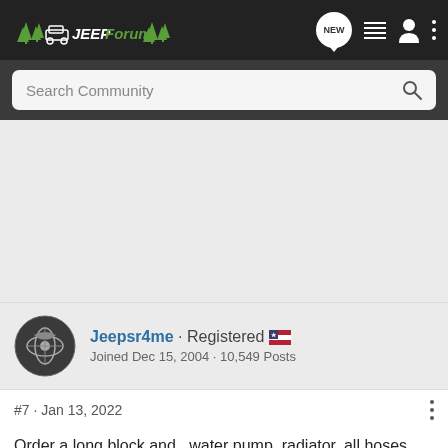[Figure (screenshot): JEEPForum navigation bar with logo, new message icon, list icon, user icon, and three-dot menu icon on dark background]
[Figure (screenshot): Search Community input bar with magnifying glass icon on dark grey background]
[Figure (other): Advertisement placeholder area (light grey)]
Jeepsr4me · Registered 🇺🇸
Joined Dec 15, 2004 · 10,549 Posts
#7 · Jan 13, 2022
Order a long block and , water pump, radiator, all hoses and gasket set. Also look into one of those minimum wiring efi kits and dump that carb. Your son will really like the idea of getting